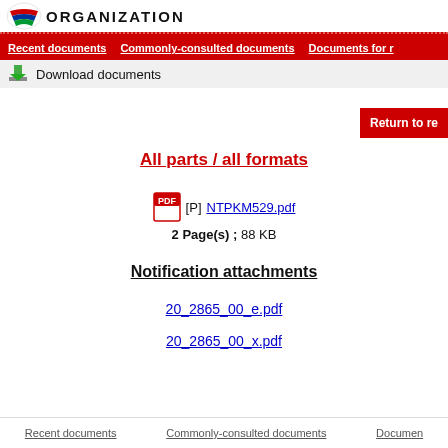ORGANIZATION
Recent documents | Commonly-consulted documents | Documents for...
Download documents
Return to re...
All parts / all formats
[P] NTPKM529.pdf
2 Page(s) ; 88 KB
Notification attachments
20_2865_00_e.pdf
20_2865_00_x.pdf
Recent documents   Commonly-consulted documents   Documen...